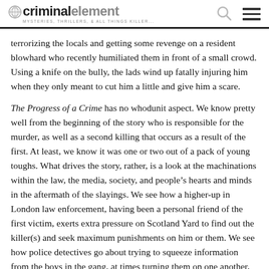criminal element — MYSTERIES, THRILLERS, & ALL THINGS KILLER...
terrorizing the locals and getting some revenge on a resident blowhard who recently humiliated them in front of a small crowd. Using a knife on the bully, the lads wind up fatally injuring him when they only meant to cut him a little and give him a scare.
The Progress of a Crime has no whodunit aspect. We know pretty well from the beginning of the story who is responsible for the murder, as well as a second killing that occurs as a result of the first. At least, we know it was one or two out of a pack of young toughs. What drives the story, rather, is a look at the machinations within the law, the media, society, and people's hearts and minds in the aftermath of the slayings. We see how a higher-up in London law enforcement, having been a personal friend of the first victim, exerts extra pressure on Scotland Yard to find out the killer(s) and seek maximum punishments on him or them. We see how police detectives go about trying to squeeze information from the boys in the gang, at times turning them on one another, once they have determined their identities. We see what happens when the lawman leading the investigation makes